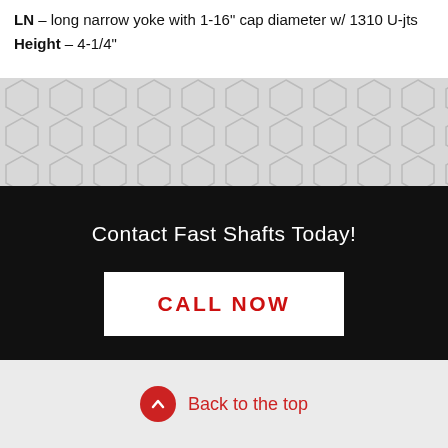LN – long narrow yoke with 1-16" cap diameter w/ 1310 U-jts
Height – 4-1/4"
[Figure (other): Geometric hexagonal/chevron pattern decorative band in light gray]
[Figure (other): Black banner with large italic Fast Shafts logo watermark in dark gray, white text 'Contact Fast Shafts Today!' and a white button with red text 'CALL NOW']
Back to the top